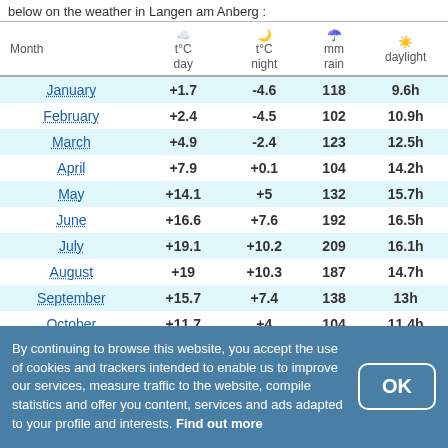below on the weather in Langen am Anberg :
| Month | t°C day | t°C night | mm rain | daylight |
| --- | --- | --- | --- | --- |
| January | +1.7 | -4.6 | 118 | 9.6h |
| February | +2.4 | -4.5 | 102 | 10.9h |
| March | +4.9 | -2.4 | 123 | 12.5h |
| April | +7.9 | +0.1 | 104 | 14.2h |
| May | +14.1 | +5 | 132 | 15.7h |
| June | +16.6 | +7.6 | 192 | 16.5h |
| July | +19.1 | +10.2 | 209 | 16.1h |
| August | +19 | +10.3 | 187 | 14.7h |
| September | +15.7 | +7.4 | 138 | 13h |
| October | +11.7 | +4 | 104 | 11.4h |
| November | +5.2 | -1.3 | 119 | 9.9h |
By continuing to browse this website, you accept the use of cookies and trackers intended to enable us to improve our services, measure traffic to the website, compile statistics and offer you content, services and ads adapted to your profile and interests. Find out more